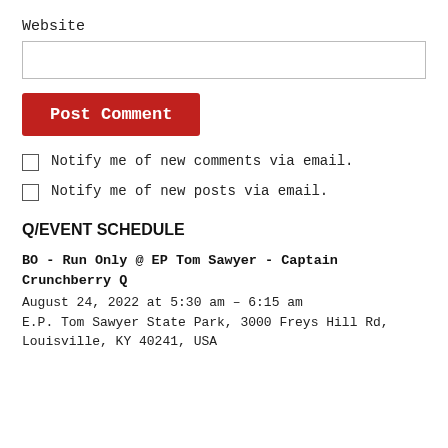Website
Post Comment
Notify me of new comments via email.
Notify me of new posts via email.
Q/EVENT SCHEDULE
BO - Run Only @ EP Tom Sawyer - Captain Crunchberry Q
August 24, 2022 at 5:30 am – 6:15 am
E.P. Tom Sawyer State Park, 3000 Freys Hill Rd, Louisville, KY 40241, USA